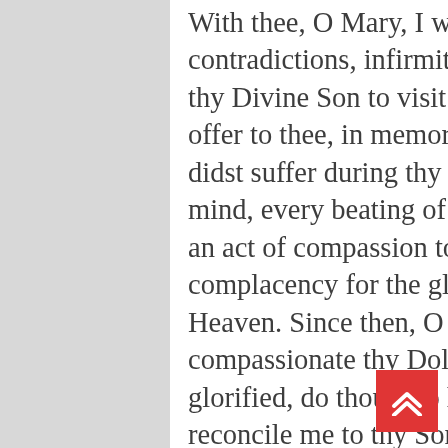With thee, O Mary, I will endure all the sufferings, contradictions, infirmities, with which it will please thy Divine Son to visit me in this life. All of them I offer to thee, in memory of the Dolors which thou didst suffer during thy life, that every thought of my mind, every beating of my heart may henceforward be an act of compassion to thy Sorrows, and of complacency for the glory thou now enjoyest in Heaven. Since then, O Dear Mother, I now compassionate thy Dolors, and rejoice in seeing thee glorified, do thou also have compassion on me, and reconcile me to thy Son Jesus, that I may become thy